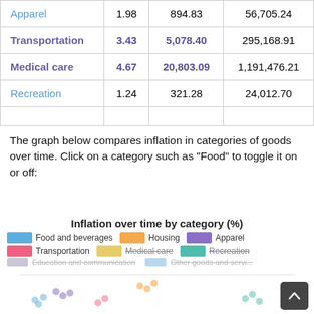|  |  |  |  |
| --- | --- | --- | --- |
| Apparel | 1.98 | 894.83 | 56,705.24 |
| Transportation | 3.43 | 5,078.40 | 295,168.91 |
| Medical care | 4.67 | 20,803.09 | 1,191,476.21 |
| Recreation | 1.24 | 321.28 | 24,012.70 |
|  |  |  |  |
The graph below compares inflation in categories of goods over time. Click on a category such as "Food" to toggle it on or off:
[Figure (line-chart): Line chart showing inflation over time by category. Legend shows: Food and beverages (blue), Housing (orange), Apparel (purple), Transportation (pink), Medical care (yellow, strikethrough), Recreation (teal, strikethrough). Faded/greyed out: Education and communication, Other goods and services. Y-axis shows 40% label visible. Partially visible line chart at bottom with scatter-style dots in various colors.]